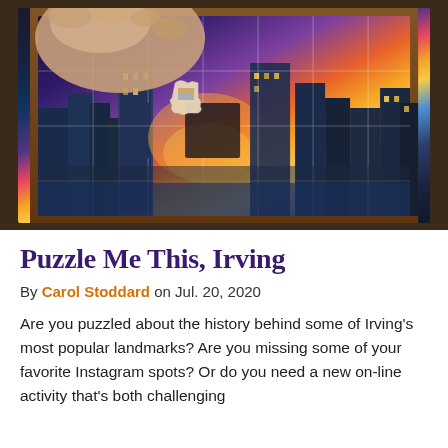[Figure (photo): A hand holding a puzzle piece above a jigsaw puzzle that shows a city skyline at sunset/dusk, with tall buildings and warm orange-purple sky visible through the puzzle pieces.]
Puzzle Me This, Irving
By Carol Stoddard on Jul. 20, 2020
Are you puzzled about the history behind some of Irving's most popular landmarks? Are you missing some of your favorite Instagram spots? Or do you need a new on-line activity that's both challenging